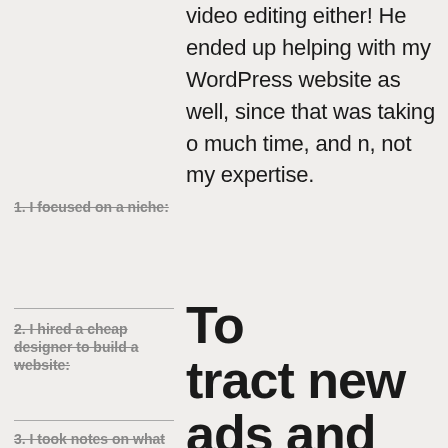video editing either! He ended up helping with my WordPress website as well, since that was taking o much time, and n, not my expertise.
1. I focused on a niche:
2. I hired a cheap designer to build a website:
3. I took notes on what my clients were asking for AND needing:
To tract new ads and stomers, I so created 'mini